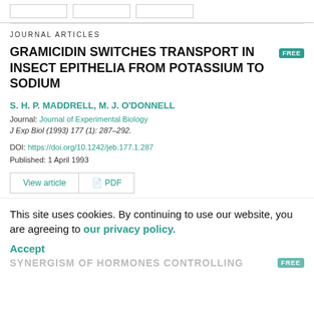JOURNAL ARTICLES
GRAMICIDIN SWITCHES TRANSPORT IN INSECT EPITHELIA FROM POTASSIUM TO SODIUM
S. H. P. MADDRELL, M. J. O'DONNELL
Journal: Journal of Experimental Biology
J Exp Biol (1993) 177 (1): 287–292.
DOI: https://doi.org/10.1242/jeb.177.1.287
Published: 1 April 1993
View article   PDF
This site uses cookies. By continuing to use our website, you are agreeing to our privacy policy. Accept
SYNERGISM OF HORMONES CONTROLLING